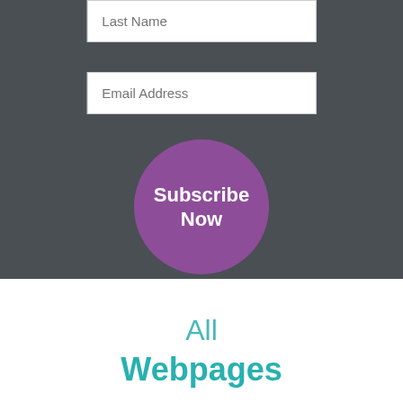[Figure (screenshot): Web form input field with placeholder text 'Last Name']
[Figure (screenshot): Web form input field with placeholder text 'Email Address']
[Figure (other): Purple circular Subscribe Now button]
All
Webpages